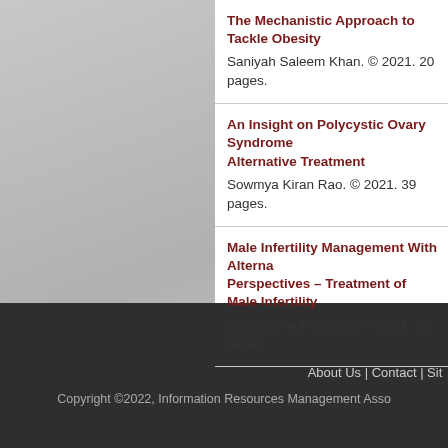The Mechanistic Approach to Tackle Obesity
Saniyah Saleem Khan. © 2021. 20 pages.
An Insight on Polycystic Ovary Syndrome and Alternative Treatment
Sowmya Kiran Rao. © 2021. 39 pages.
Male Infertility Management With Alternative Perspectives – Treatment of Male Infertility
Sreepoorna Pramodh. © 2021. 23 pages.
About Us | Contact | Si...
Copyright ©2022, Information Resources Management Association